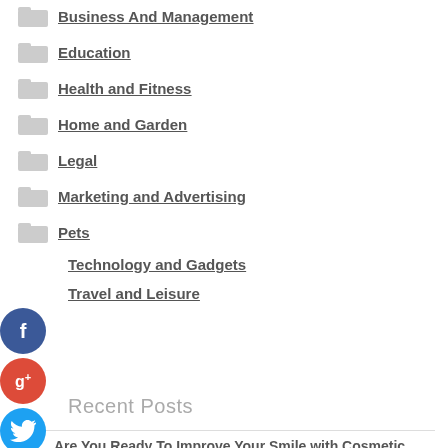Business And Management
Education
Health and Fitness
Home and Garden
Legal
Marketing and Advertising
Pets
Technology and Gadgets
Travel and Leisure
Recent Posts
Are You Ready To Improve Your Smile with Cosmetic Dentistry